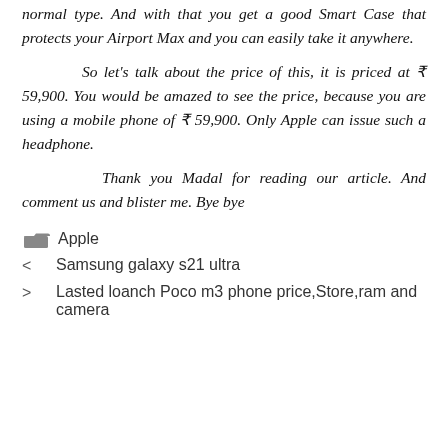normal type. And with that you get a good Smart Case that protects your Airport Max and you can easily take it anywhere.
So let's talk about the price of this, it is priced at ₹ 59,900. You would be amazed to see the price, because you are using a mobile phone of ₹ 59,900. Only Apple can issue such a headphone.
Thank you Madal for reading our article. And comment us and blister me. Bye bye
Apple
Samsung galaxy s21 ultra
Lasted loanch Poco m3 phone price,Store,ram and camera